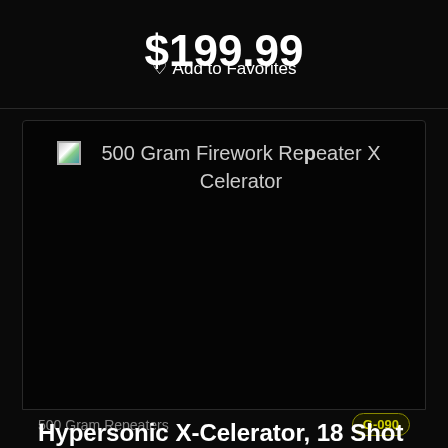$199.99
♡ Add to Favorites
[Figure (photo): Product image placeholder (broken image) for 500 Gram Firework Repeater X Celerator, showing alt text on dark background]
500 Gram Repeaters
G-090
Hypersonic X-Celerator, 18 Shot